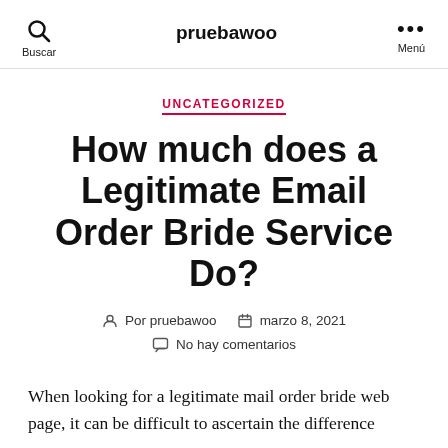pruebawoo
UNCATEGORIZED
How much does a Legitimate Email Order Bride Service Do?
Por pruebawoo   marzo 8, 2021   No hay comentarios
When looking for a legitimate mail order bride web page, it can be difficult to ascertain the difference